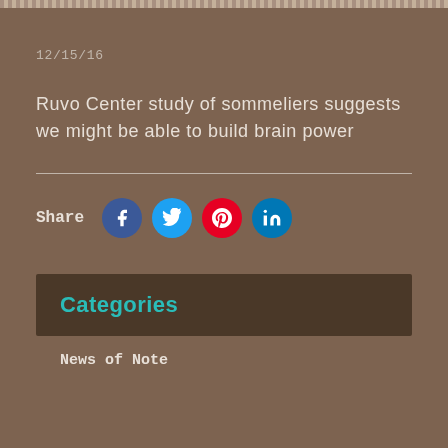12/15/16
Ruvo Center study of sommeliers suggests we might be able to build brain power
Share
Categories
News of Note